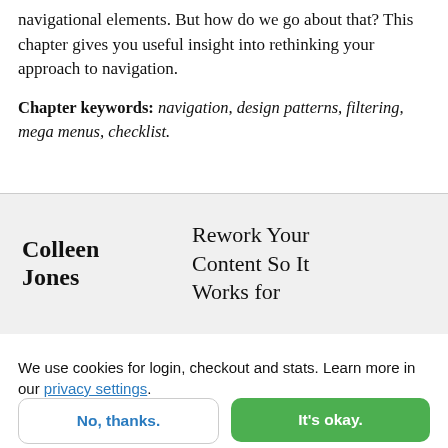navigational elements. But how do we go about that? This chapter gives you useful insight into rethinking your approach to navigation.
Chapter keywords: navigation, design patterns, filtering, mega menus, checklist.
[Figure (other): Book promotion block with author name 'Colleen Jones' on the left and book title 'Rework Your Content So It Works for' on the right, on a gray background.]
We use cookies for login, checkout and stats. Learn more in our privacy settings.
No, thanks.
It's okay.